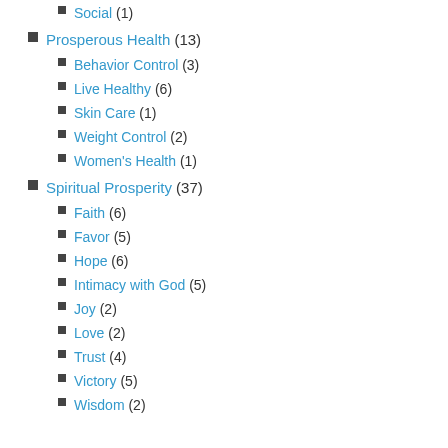Social (1)
Prosperous Health (13)
Behavior Control (3)
Live Healthy (6)
Skin Care (1)
Weight Control (2)
Women's Health (1)
Spiritual Prosperity (37)
Faith (6)
Favor (5)
Hope (6)
Intimacy with God (5)
Joy (2)
Love (2)
Trust (4)
Victory (5)
Wisdom (2)